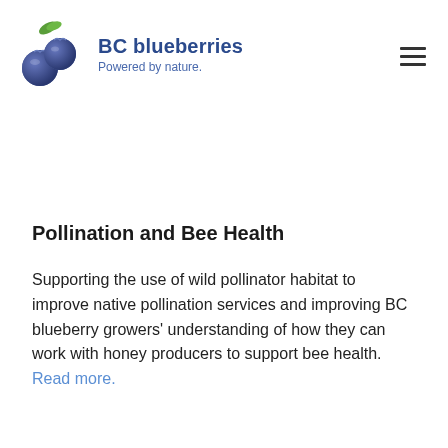BC blueberries – Powered by nature.
Pollination and Bee Health
Supporting the use of wild pollinator habitat to improve native pollination services and improving BC blueberry growers' understanding of how they can work with honey producers to support bee health. Read more.